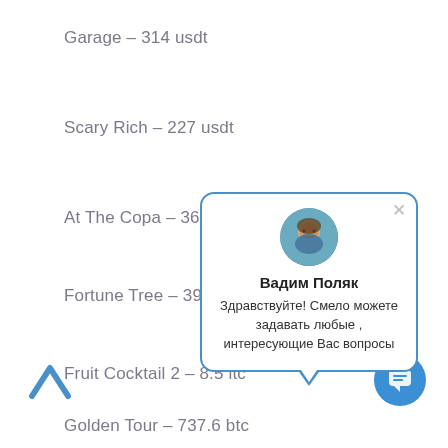Garage – 314 usdt
Scary Rich – 227 usdt
At The Copa – 36.3
Fortune Tree – 39.
Fruit Cocktail 2 – 8.5 ltc
Golden Tour – 737.6 btc
[Figure (infographic): Chat popup with avatar of Вадим Поляк, greeting message in Russian: Здравствуйте! Смело можете задавать любые , интересующие Вас вопросы]
[Figure (infographic): Blue circular chat button with speech bubble icon]
[Figure (infographic): Blue chevron/arrow up scroll button]